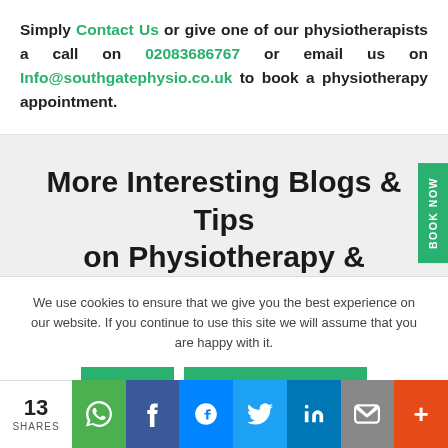Simply Contact Us or give one of our physiotherapists a call on 02083686767 or email us on Info@southgatephysio.co.uk to book a physiotherapy appointment.
More Interesting Blogs & Tips on Physiotherapy &
We use cookies to ensure that we give you the best experience on our website. If you continue to use this site we will assume that you are happy with it.
OK   COOKIE POLICY
13 SHARES